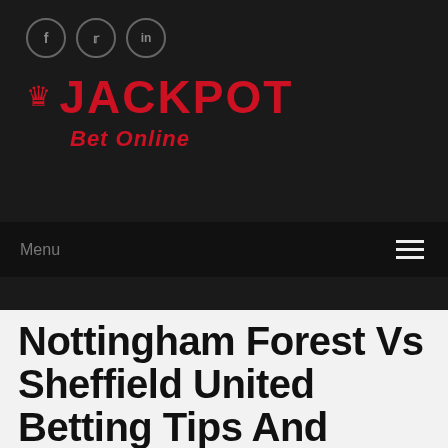[Figure (logo): Jackpot Bet Online logo with crown icon and red text on dark background]
Menu
Nottingham Forest Vs Sheffield United Betting Tips And Predictions